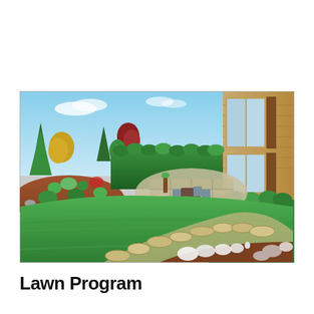[Figure (photo): Wide panoramic photograph of a beautifully landscaped backyard with a lush green lawn, colorful garden beds with shrubs and flowers, a stone patio with outdoor furniture, tall green hedge in the background, and a large house with large windows on the right side. The scene is bright and sunny with a partly cloudy blue sky.]
Lawn Program